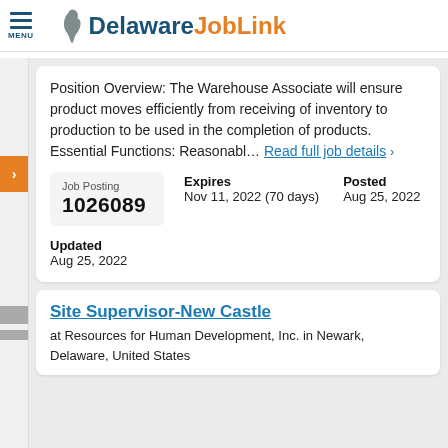Delaware JobLink
Position Overview: The Warehouse Associate will ensure product moves efficiently from receiving of inventory to production to be used in the completion of products. Essential Functions: Reasonabl... Read full job details >
Job Posting 1026089
Expires Nov 11, 2022 (70 days)
Posted Aug 25, 2022
Updated Aug 25, 2022
Site Supervisor-New Castle
at Resources for Human Development, Inc. in Newark, Delaware, United States